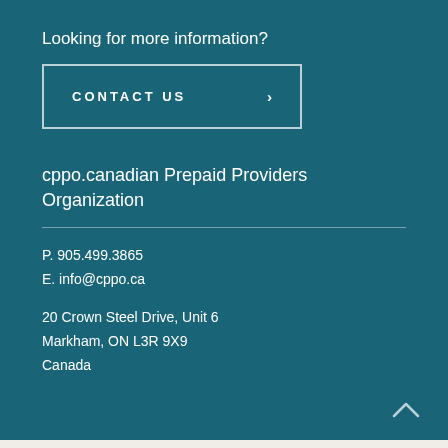Looking for more information?
CONTACT US ›
cppo.canadian Prepaid Providers Organization
P. 905.499.3865
E. info@cppo.ca
20 Crown Steel Drive, Unit 6
Markham, ON L3R 9X9
Canada